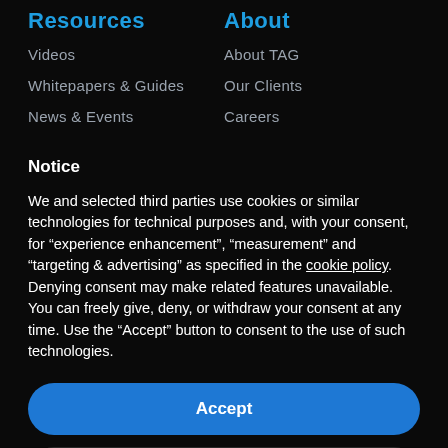Resources
Videos
Whitepapers & Guides
News & Events
About
About TAG
Our Clients
Careers
Notice
We and selected third parties use cookies or similar technologies for technical purposes and, with your consent, for “experience enhancement”, “measurement” and “targeting & advertising” as specified in the cookie policy. Denying consent may make related features unavailable.
You can freely give, deny, or withdraw your consent at any time. Use the “Accept” button to consent to the use of such technologies.
Accept
Learn more and customize